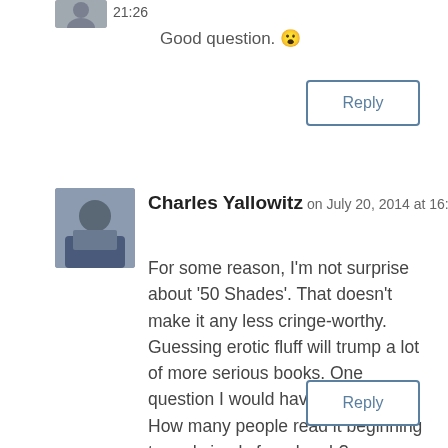21:26
Good question. 😮
Reply
Charles Yallowitz on July 20, 2014 at 16:30
For some reason, I'm not surprise about '50 Shades'. That doesn't make it any less cringe-worthy. Guessing erotic fluff will trump a lot of more serious books. One question I would have on that one: How many people read it beginning to end simply for a laugh?
Reply